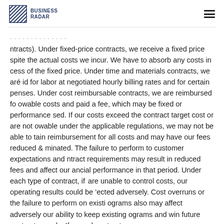BUSINESS RADAR
ntracts). Under fixed-price contracts, we receive a fixed price spite the actual costs we incur. We have to absorb any costs in cess of the fixed price. Under time and materials contracts, we are id for labor at negotiated hourly billing rates and for certain penses. Under cost reimbursable contracts, we are reimbursed for owable costs and paid a fee, which may be fixed or performance sed. If our costs exceed the contract target cost or are not owable under the applicable regulations, we may not be able to tain reimbursement for all costs and may have our fees reduced or minated. The failure to perform to customer expectations and ntract requirements may result in reduced fees and affect our ancial performance in that period. Under each type of contract, if are unable to control costs, our operating results could be ected adversely. Cost overruns or the failure to perform on existing ograms also may affect adversely our ability to keep existing ograms and win future contract awards. If our subcontractors or